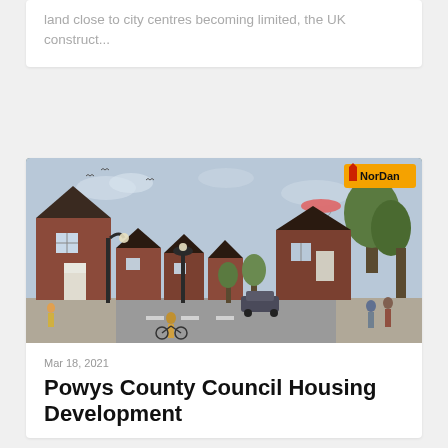land close to city centres becoming limited, the UK construct...
[Figure (illustration): Architectural render of a housing development: red-brick houses lining a street with lamp posts, trees, pedestrians, a cyclist, and a paraglider in the sky. NorDan brand logo in top-right corner.]
Mar 18, 2021
Powys County Council Housing Development